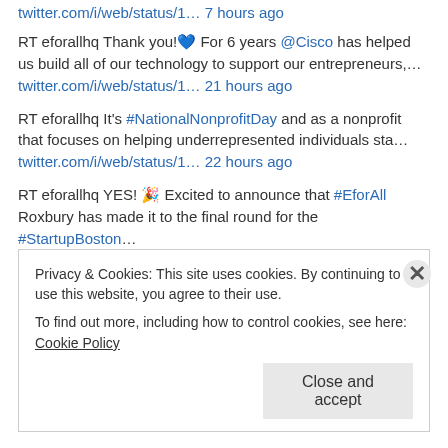twitter.com/i/web/status/1… 7 hours ago
RT eforallhq Thank you!💙 For 6 years @Cisco has helped us build all of our technology to support our entrepreneurs,…
twitter.com/i/web/status/1… 21 hours ago
RT eforallhq It's #NationalNonprofitDay and as a nonprofit that focuses on helping underrepresented individuals sta…
twitter.com/i/web/status/1… 22 hours ago
RT eforallhq YES! 🎉 Excited to announce that #EforAll Roxbury has made it to the final round for the #StartupBoston…
twitter.com/i/web/status/1… 2 days ago
Privacy & Cookies: This site uses cookies. By continuing to use this website, you agree to their use.
To find out more, including how to control cookies, see here: Cookie Policy
Close and accept